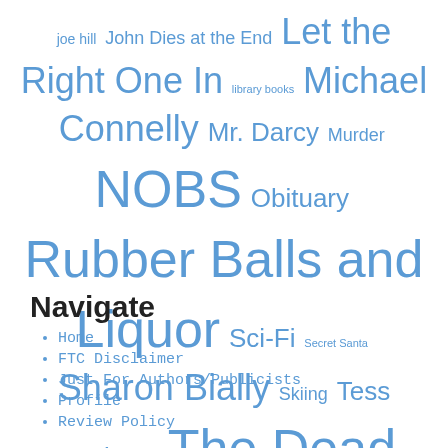[Figure (infographic): Tag cloud with various book titles and author names in different font sizes, all in blue. Items include: joe hill, John Dies at the End, Let the Right One In, library books, Michael Connelly, Mr. Darcy, Murder, NOBS, Obituary, Rubber Balls and Liquor, Sci-Fi, Secret Santa, Sharon Bially, Skiing, Tess Gerritsen, The Dead Hour, The Night Eternal, The Survivor's Club, Tony Hillerman, Valentine's Day, Walter Mosley, When Falls the Coliseum, zombies]
Navigate
Home
FTC Disclaimer
Just For Authors/Publicists
Profile
Review Policy